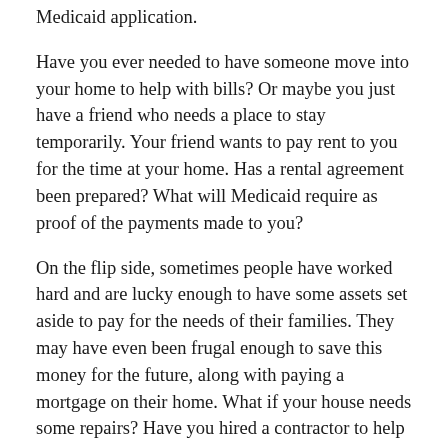Medicaid application.
Have you ever needed to have someone move into your home to help with bills? Or maybe you just have a friend who needs a place to stay temporarily. Your friend wants to pay rent to you for the time at your home. Has a rental agreement been prepared? What will Medicaid require as proof of the payments made to you?
On the flip side, sometimes people have worked hard and are lucky enough to have some assets set aside to pay for the needs of their families. They may have even been frugal enough to save this money for the future, along with paying a mortgage on their home. What if your house needs some repairs? Have you hired a contractor to help with some renovations? Did you have them write up a contract? Or did they want you to make out the check to cash? Are you aware that if you do not have accurate